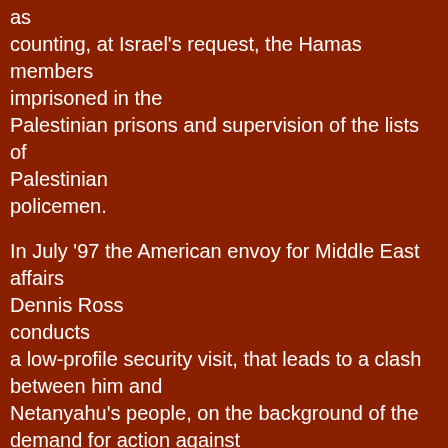as counting, at Israel's request, the Hamas members imprisoned in the Palestinian prisons and supervision of the lists of Palestinian policemen.

In July '97 the American envoy for Middle East affairs Dennis Ross conducts a low-profile security visit, that leads to a clash between him and Netanyahu's people, on the background of the demand for action against the Hamas infrastructure. When Ross insisted, "You, too, were not successful in contending with the Hamas," a senior member of the Netanyahu government replied: "You need a terrorist to deal with a terrorist."